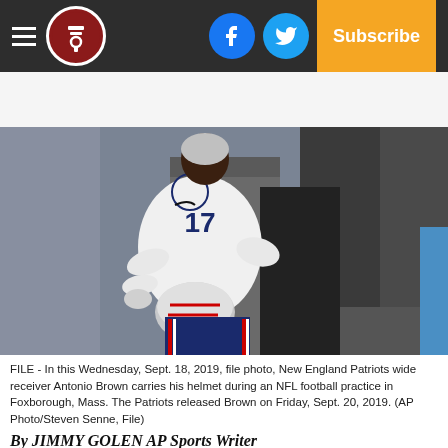Navigation bar with hamburger menu, logo, Facebook button, Twitter button, Subscribe button
[Figure (photo): New England Patriots wide receiver Antonio Brown in white jersey carrying his football helmet during an NFL football practice in Foxborough, Mass. on Wednesday, Sept. 18, 2019.]
FILE - In this Wednesday, Sept. 18, 2019, file photo, New England Patriots wide receiver Antonio Brown carries his helmet during an NFL football practice in Foxborough, Mass. The Patriots released Brown on Friday, Sept. 20, 2019. (AP Photo/Steven Senne, File)
By JIMMY GOLEN AP Sports Writer